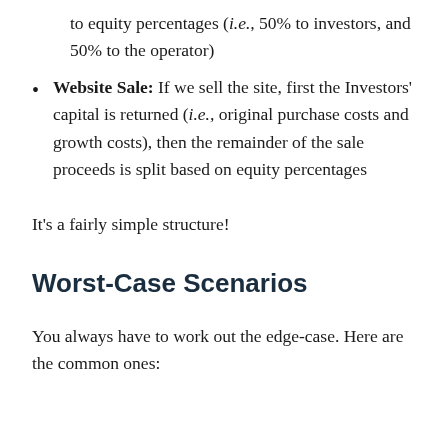to equity percentages (i.e., 50% to investors, and 50% to the operator)
Website Sale: If we sell the site, first the Investors' capital is returned (i.e., original purchase costs and growth costs), then the remainder of the sale proceeds is split based on equity percentages
It’s a fairly simple structure!
Worst-Case Scenarios
You always have to work out the edge-case. Here are the common ones: